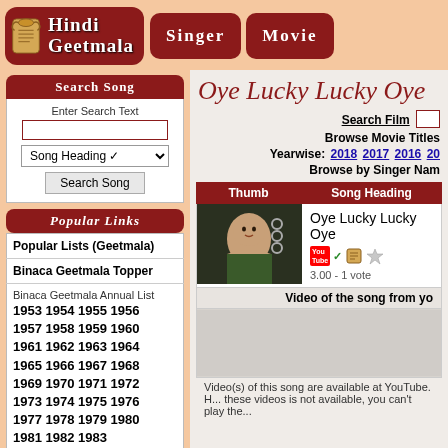[Figure (screenshot): Hindi Geetmala logo with scroll icon]
Singer
Movie
Search Song
Enter Search Text
Popular Links
Popular Lists (Geetmala)
Binaca Geetmala Topper
Binaca Geetmala Annual List
1953 1954 1955 1956
1957 1958 1959 1960
1961 1962 1963 1964
1965 1966 1967 1968
1969 1970 1971 1972
1973 1974 1975 1976
1977 1978 1979 1980
1981 1982 1983
Movie Summary
Blockbuster Movies
Blockbuster Movies 2
Oye Lucky Lucky Oye
Search Film
Browse Movie Titles
Yearwise: 2018 2017 2016 20...
Browse by Singer Nam...
| Thumb | Song Heading |
| --- | --- |
| [thumbnail] | Oye Lucky Lucky Oye
[YouTube] [icons] 3.00 - 1 vote... |
Video of the song from yo...
Video(s) of this song are available at YouTube. H... these videos is not available, you can't play the...